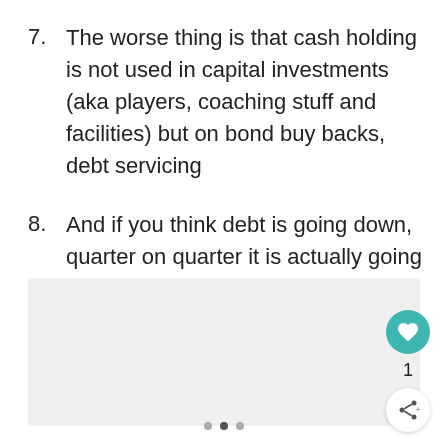7. The worse thing is that cash holding is not used in capital investments (aka players, coaching stuff and facilities) but on bond buy backs, debt servicing
8. And if you think debt is going down, quarter on quarter it is actually going up
[Figure (other): Gray placeholder image box below the list items]